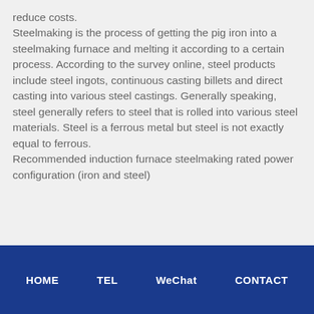reduce costs. Steelmaking is the process of getting the pig iron into a steelmaking furnace and melting it according to a certain process. According to the survey online, steel products include steel ingots, continuous casting billets and direct casting into various steel castings. Generally speaking, steel generally refers to steel that is rolled into various steel materials. Steel is a ferrous metal but steel is not exactly equal to ferrous. Recommended induction furnace steelmaking rated power configuration (iron and steel)
HOME   TEL   WeChat   CONTACT